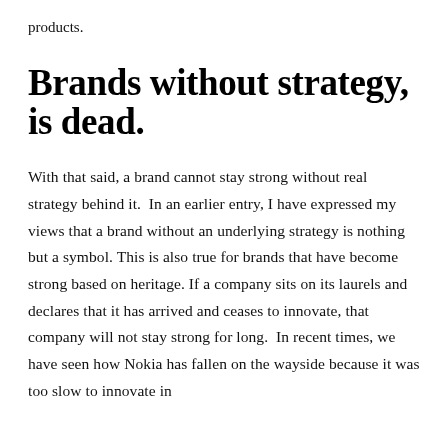products.
Brands without strategy, is dead.
With that said, a brand cannot stay strong without real strategy behind it.  In an earlier entry, I have expressed my views that a brand without an underlying strategy is nothing but a symbol. This is also true for brands that have become strong based on heritage. If a company sits on its laurels and declares that it has arrived and ceases to innovate, that company will not stay strong for long.  In recent times, we have seen how Nokia has fallen on the wayside because it was too slow to innovate in